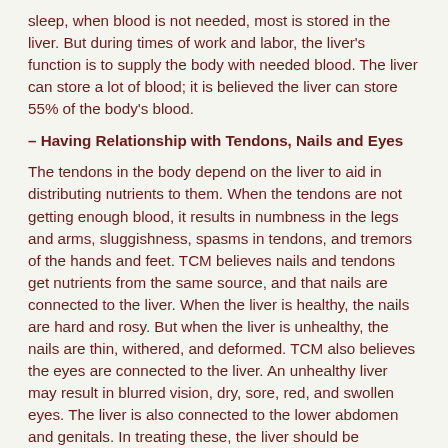sleep, when blood is not needed, most is stored in the liver. But during times of work and labor, the liver's function is to supply the body with needed blood. The liver can store a lot of blood; it is believed the liver can store 55% of the body's blood.
– Having Relationship with Tendons, Nails and Eyes
The tendons in the body depend on the liver to aid in distributing nutrients to them. When the tendons are not getting enough blood, it results in numbness in the legs and arms, sluggishness, spasms in tendons, and tremors of the hands and feet. TCM believes nails and tendons get nutrients from the same source, and that nails are connected to the liver. When the liver is healthy, the nails are hard and rosy. But when the liver is unhealthy, the nails are thin, withered, and deformed. TCM also believes the eyes are connected to the liver. An unhealthy liver may result in blurred vision, dry, sore, red, and swollen eyes. The liver is also connected to the lower abdomen and genitals. In treating these, the liver should be nourished.